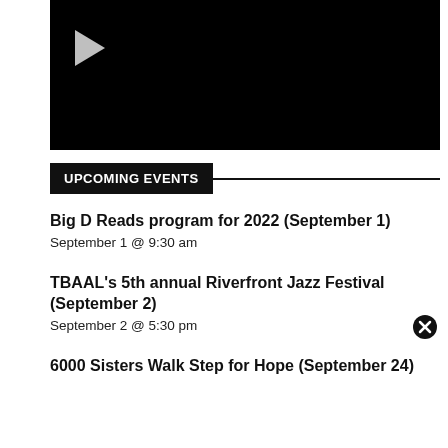[Figure (screenshot): Black video player with a white play button triangle in the upper-left area]
UPCOMING EVENTS
Big D Reads program for 2022 (September 1)
September 1 @ 9:30 am
TBAAL's 5th annual Riverfront Jazz Festival (September 2)
September 2 @ 5:30 pm
6000 Sisters Walk Step for Hope (September 24)